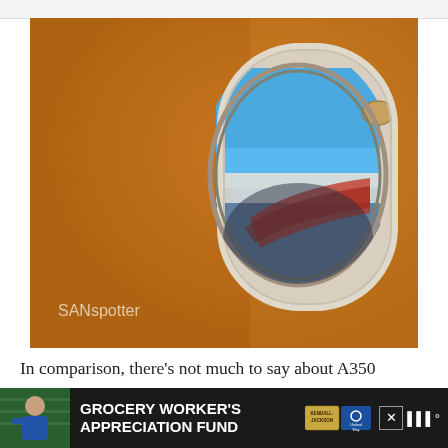[Figure (photo): Close-up photo of an airplane window (A350) with orange/amber interior cabin wall surround. Through the oval window, a blue sky is visible with the aircraft wing below and clouds on the horizon. A small window shade button is visible. Watermark 'SANspotter' in bottom-left corner of the photo.]
In comparison, there's not much to say about A350 windows. That's perfectly ok of course, because I had lots to
[Figure (other): Advertisement banner: Grocery Worker's Appreciation Fund, showing a grocery worker photo on left, bold white text on dark background, Kendall-Jackson and United Way logos, close button, and weather icon.]